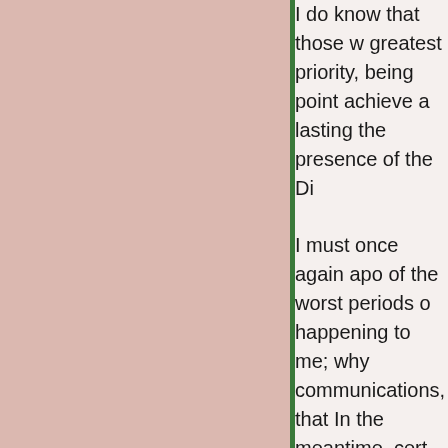I do know that those w greatest priority, being point achieve a lasting the presence of the Di
I must once again apo of the worst periods o happening to me; why communications, that In the meantime, cert countries outside the b government have refu problem with this prev it had everything to do entering the country in
I pray in a p
Scroll to Top